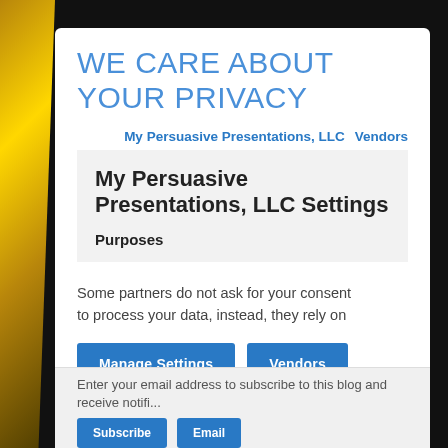WE CARE ABOUT YOUR PRIVACY
My Persuasive Presentations, LLC   Vendors
My Persuasive Presentations, LLC Settings
Purposes
Some partners do not ask for your consent to process your data, instead, they rely on
Manage Settings   Vendors
Enter your email address to subscribe to this blog and receive notifi...